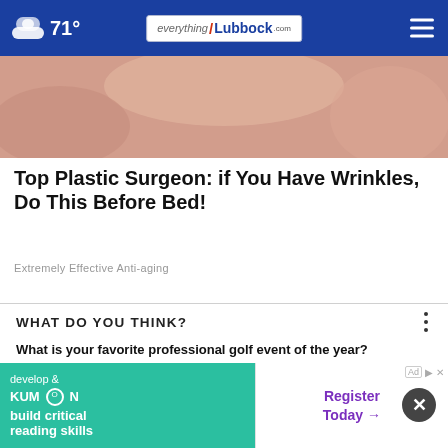71° everything Lubbock .com
[Figure (photo): Close-up photo of a person's face/hands, skin tone visible, anti-aging article hero image]
Top Plastic Surgeon: if You Have Wrinkles, Do This Before Bed!
Extremely Effective Anti-aging
WHAT DO YOU THINK?
What is your favorite professional golf event of the year?
The Master's Tournament
The U.S. Open
[Figure (infographic): Kumon advertisement banner: develop & build critical reading skills - Register Today]